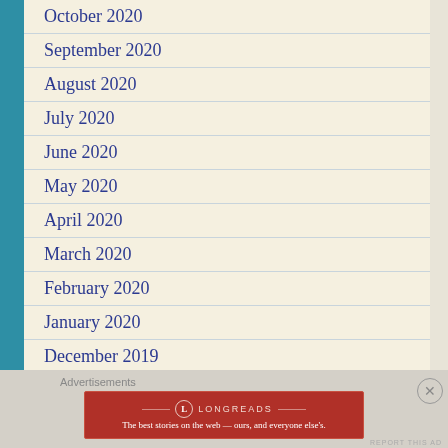October 2020
September 2020
August 2020
July 2020
June 2020
May 2020
April 2020
March 2020
February 2020
January 2020
December 2019
Advertisements
[Figure (other): Longreads advertisement banner: 'The best stories on the web — ours, and everyone else's.']